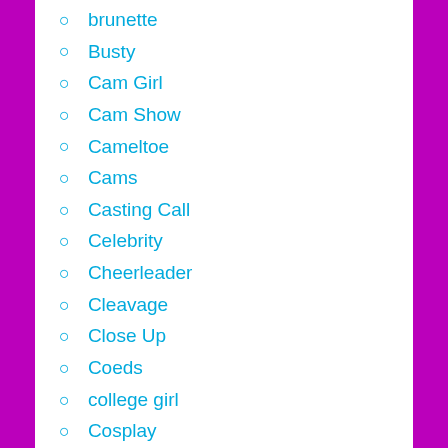brunette
Busty
Cam Girl
Cam Show
Cameltoe
Cams
Casting Call
Celebrity
Cheerleader
Cleavage
Close Up
Coeds
college girl
Cosplay
Curvy
Curvy Babe
cute
Cute Ass
Dancing